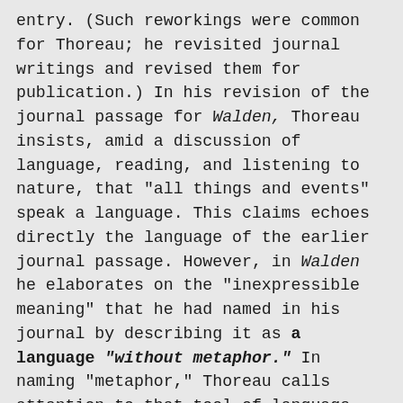entry. (Such reworkings were common for Thoreau; he revisited journal writings and revised them for publication.) In his revision of the journal passage for Walden, Thoreau insists, amid a discussion of language, reading, and listening to nature, that "all things and events" speak a language. This claims echoes directly the language of the earlier journal passage. However, in Walden he elaborates on the "inexpressible meaning" that he had named in his journal by describing it as a language "without metaphor." In naming "metaphor," Thoreau calls attention to that tool of language that frequently appeared in his culture's discourse concerning the natural world. Metaphor, he wrote in this key section of Walden, had